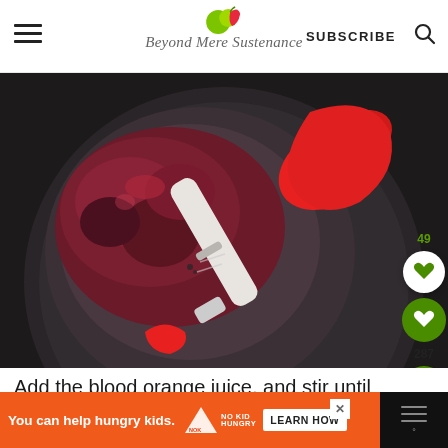Beyond Mere Sustenance — SUBSCRIBE
[Figure (photo): Overhead view of a dark pan on a stovetop with deep red/burgundy blood orange sauce and a red silicone basting brush resting across the pan. A heart icon button (49 saves) and share button (287) are overlaid on the right side.]
Add the blood orange juice, and stir until completely incorporated. Divide between the ramekins (that have been sprayed with cooking
[Figure (other): Orange advertisement banner: 'You can help hungry kids.' with No Kid Hungry logo and LEARN HOW button]